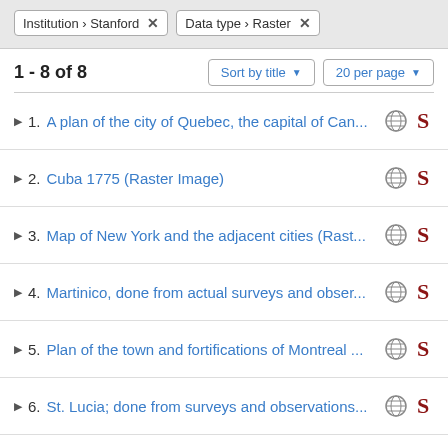Institution › Stanford × | Data type › Raster ×
1 - 8 of 8
1. A plan of the city of Quebec, the capital of Can...
2. Cuba 1775 (Raster Image)
3. Map of New York and the adjacent cities (Rast...
4. Martinico, done from actual surveys and obser...
5. Plan of the town and fortifications of Montreal ...
6. St. Lucia; done from surveys and observations...
7. St. Vincent; done from surveys and observations in the...